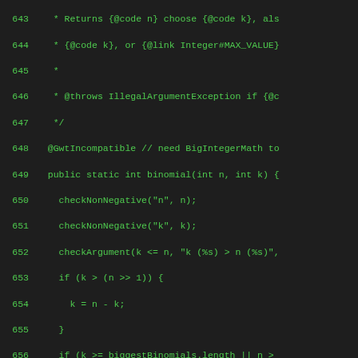[Figure (screenshot): Source code listing in a dark IDE/viewer showing Java code for a binomial method, lines 643-671, with green monospaced text on dark background. Line numbers shown on the left.]